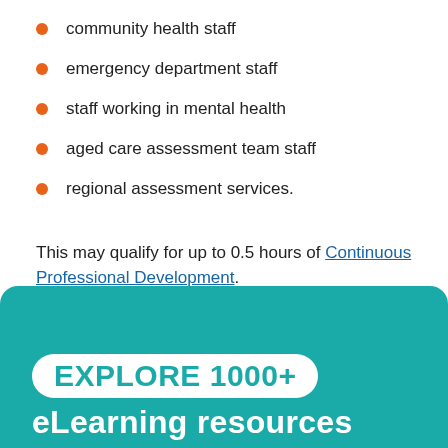community health staff
emergency department staff
staff working in mental health
aged care assessment team staff
regional assessment services.
This may qualify for up to 0.5 hours of Continuous Professional Development.
[Figure (infographic): Teal rounded box with white badge text 'EXPLORE 1000+' and white text 'eLearning resources' below it on teal background.]